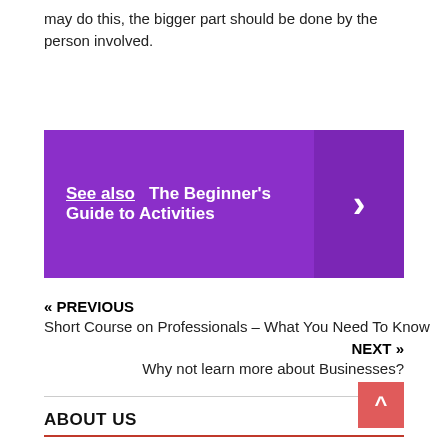may do this, the bigger part should be done by the person involved.
[Figure (infographic): Purple 'See also' box with white bold text reading 'See also The Beginner's Guide to Activities' and a right-arrow chevron on the right side]
« PREVIOUS
Short Course on Professionals – What You Need To Know
NEXT »
Why not learn more about Businesses?
ABOUT US
Disclosure Policy
Sitemap